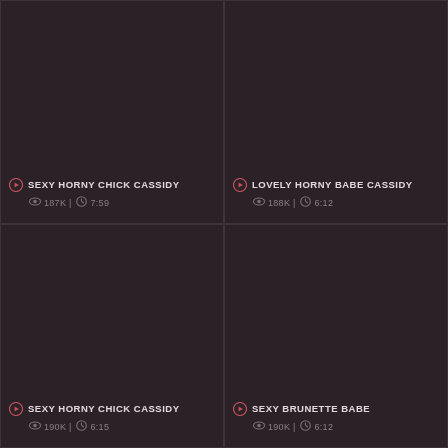SEXY HORNY CHICK CASSIDY | 187K | 7:59
LOVELY HORNY BABE CASSIDY | 188K | 6:12
SEXY HORNY CHICK CASSIDY | 190K | 6:15
SEXY BRUNETTE BABE | 190K | 6:12